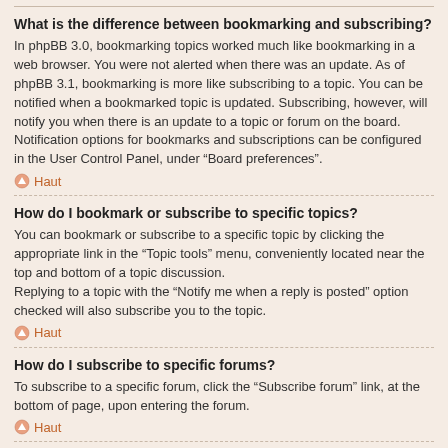What is the difference between bookmarking and subscribing?
In phpBB 3.0, bookmarking topics worked much like bookmarking in a web browser. You were not alerted when there was an update. As of phpBB 3.1, bookmarking is more like subscribing to a topic. You can be notified when a bookmarked topic is updated. Subscribing, however, will notify you when there is an update to a topic or forum on the board. Notification options for bookmarks and subscriptions can be configured in the User Control Panel, under “Board preferences”.
Haut
How do I bookmark or subscribe to specific topics?
You can bookmark or subscribe to a specific topic by clicking the appropriate link in the “Topic tools” menu, conveniently located near the top and bottom of a topic discussion.
Replying to a topic with the “Notify me when a reply is posted” option checked will also subscribe you to the topic.
Haut
How do I subscribe to specific forums?
To subscribe to a specific forum, click the “Subscribe forum” link, at the bottom of page, upon entering the forum.
Haut
How do I remove my subscriptions?
To remove your subscriptions, go to your User Control Panel and follow the links